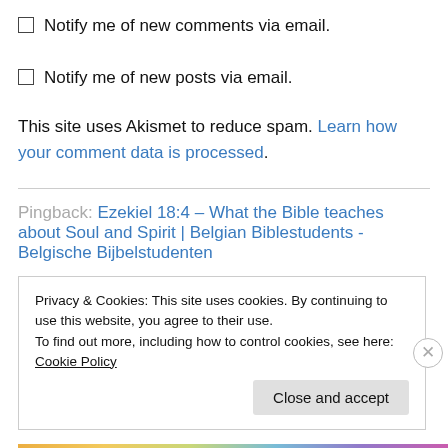Notify me of new comments via email.
Notify me of new posts via email.
This site uses Akismet to reduce spam. Learn how your comment data is processed.
Pingback: Ezekiel 18:4 – What the Bible teaches about Soul and Spirit | Belgian Biblestudents - Belgische Bijbelstudenten
Privacy & Cookies: This site uses cookies. By continuing to use this website, you agree to their use.
To find out more, including how to control cookies, see here: Cookie Policy